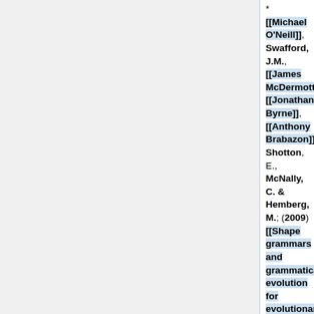* [[Michael O'Neill]], Swafford, J.M., [[James McDermott]], [[Jonathan Byrne]], [[Anthony Brabazon]], Shotton, E., McNally, C. & Hemberg, M.; (2009) [[Shape grammars and grammatical evolution for evolutionary design]]. Genetic and Evolutionary Computation Conference (GECCO)